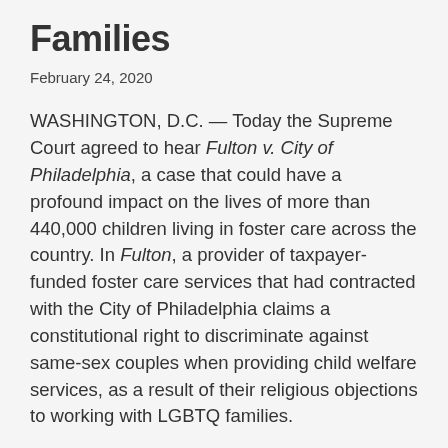Families
February 24, 2020
WASHINGTON, D.C. — Today the Supreme Court agreed to hear Fulton v. City of Philadelphia, a case that could have a profound impact on the lives of more than 440,000 children living in foster care across the country. In Fulton, a provider of taxpayer-funded foster care services that had contracted with the City of Philadelphia claims a constitutional right to discriminate against same-sex couples when providing child welfare services, as a result of their religious objections to working with LGBTQ families.